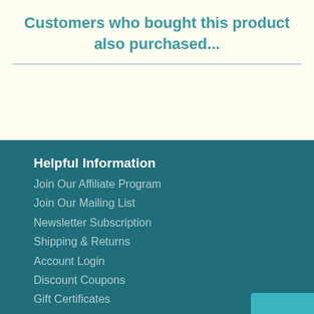Customers who bought this product also purchased...
Helpful Information
Join Our Affiliate Program
Join Our Mailing List
Newsletter Subscription
Shipping & Returns
Account Login
Discount Coupons
Gift Certificates
Site Map